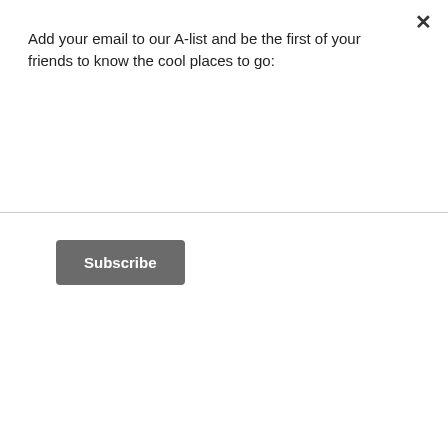Add your email to our A-list and be the first of your friends to know the cool places to go:
[Figure (other): Subscribe button — dark grey rounded rectangle with white bold text 'Subscribe']
[Figure (photo): Close-up photograph of a woman's face looking downward with eyes closed, wearing makeup including eyeliner and mascara with pink lips, resting near a brown leather surface, wearing a light cream-colored top]